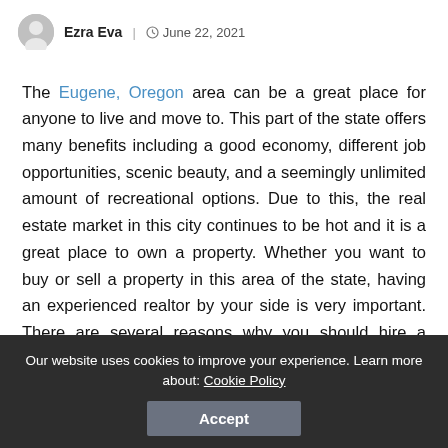Ezra Eva | June 22, 2021
The Eugene, Oregon area can be a great place for anyone to live and move to. This part of the state offers many benefits including a good economy, different job opportunities, scenic beauty, and a seemingly unlimited amount of recreational options. Due to this, the real estate market in this city continues to be hot and it is a great place to own a property. Whether you want to buy or sell a property in this area of the state, having an experienced realtor by your side is very important. There are several reasons why you should hire a realtor when looking to buy or sell real estate when you are in the Eugene area.
Our website uses cookies to improve your experience. Learn more about: Cookie Policy
Accept